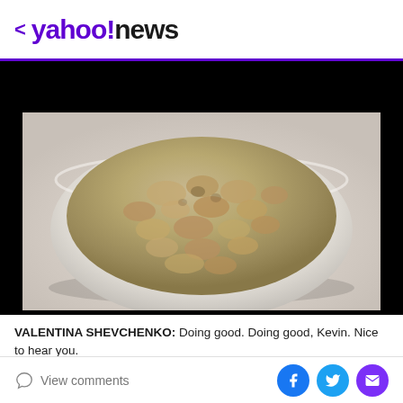< yahoo!news
[Figure (photo): A white bowl filled with cooked oatmeal/porridge, photographed from above on a light background.]
VALENTINA SHEVCHENKO: Doing good. Doing good, Kevin. Nice to hear you.
View comments